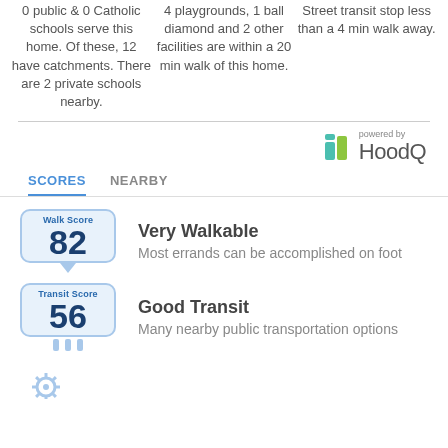0 public & 0 Catholic schools serve this home. Of these, 12 have catchments. There are 2 private schools nearby.
4 playgrounds, 1 ball diamond and 2 other facilities are within a 20 min walk of this home.
Street transit stop less than a 4 min walk away.
[Figure (logo): HoodQ logo — powered by HoodQ branding with teal and green icon]
SCORES   NEARBY
Walk Score 82 — Very Walkable. Most errands can be accomplished on foot
Transit Score 56 — Good Transit. Many nearby public transportation options